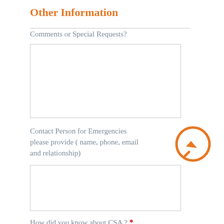Other Information
Comments or Special Requests?
Contact Person for Emergencies please provide ( name, phone, email and relationship)
[Figure (illustration): Facebook Messenger logo icon — orange circle with a lightning bolt chat bubble symbol inside]
How did you know about CSA ? *
Please Select